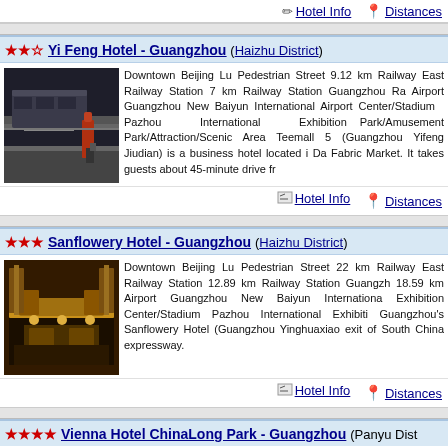Hotel Info   Distances
★★☆ Yi Feng Hotel - Guangzhou (Haizhu District)
[Figure (photo): Interior photo of subway/metro station with a person in red uniform standing on the platform]
Downtown Beijing Lu Pedestrian Street 9.12 km Railway East Railway Station 7 km Railway Station Guangzhou Railway Airport Guangzhou New Baiyun International Airport Center/Stadium Pazhou International Exhibition Park/Amusement Park/Attraction/Scenic Area Teemall 5 (Guangzhou Yifeng Jiudian) is a business hotel located i Da Fabric Market. It takes guests about 45-minute drive fr
Hotel Info   Distances
★★★ Sanflowery Hotel - Guangzhou (Haizhu District)
[Figure (photo): Interior photo of a hotel dining room with ornate golden decor and table settings]
Downtown Beijing Lu Pedestrian Street 22 km Railway East Railway Station 12.89 km Railway Station Guangzh 18.59 km Airport Guangzhou New Baiyun Internationa Exhibition Center/Stadium Pazhou International Exhibiti Guangzhou's Sanflowery Hotel (Guangzhou Yinghuaxiao exit of South China expressway.
Hotel Info   Distances
★★★★ Vienna Hotel ChinaLong Park - Guangzhou (Panyu District)